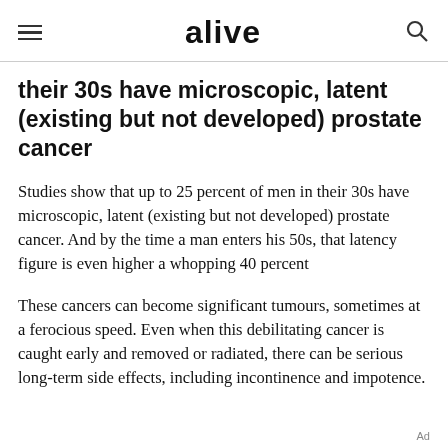alive
their 30s have microscopic, latent (existing but not developed) prostate cancer
Studies show that up to 25 percent of men in their 30s have microscopic, latent (existing but not developed) prostate cancer. And by the time a man enters his 50s, that latency figure is even higher a whopping 40 percent
These cancers can become significant tumours, sometimes at a ferocious speed. Even when this debilitating cancer is caught early and removed or radiated, there can be serious long-term side effects, including incontinence and impotence.